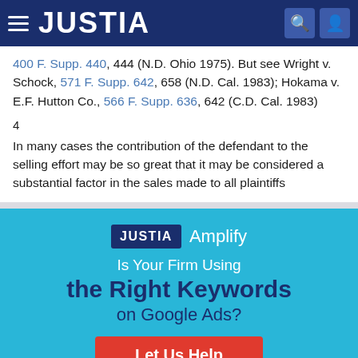JUSTIA
400 F. Supp. 440, 444 (N.D. Ohio 1975). But see Wright v. Schock, 571 F. Supp. 642, 658 (N.D. Cal. 1983); Hokama v. E.F. Hutton Co., 566 F. Supp. 636, 642 (C.D. Cal. 1983)
4
In many cases the contribution of the defendant to the selling effort may be so great that it may be considered a substantial factor in the sales made to all plaintiffs
[Figure (logo): Justia Amplify logo and advertisement banner with text 'Is Your Firm Using the Right Keywords on Google Ads?' and a 'Let Us Help' button]